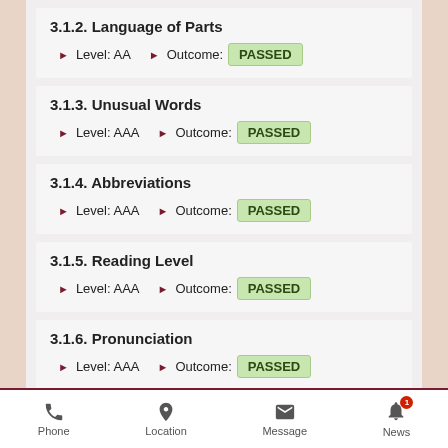3.1.2. Language of Parts
Level: AA   Outcome: PASSED
3.1.3. Unusual Words
Level: AAA   Outcome: PASSED
3.1.4. Abbreviations
Level: AAA   Outcome: PASSED
3.1.5. Reading Level
Level: AAA   Outcome: PASSED
3.1.6. Pronunciation
Level: AAA   Outcome: PASSED
Phone   Location   Message   News